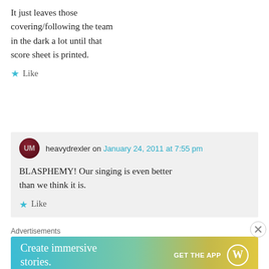It just leaves those covering/following the team in the dark a lot until that score sheet is printed.
Like
heavydrexler on January 24, 2011 at 7:55 pm
BLASPHEMY! Our singing is even better than we think it is.
Like
Advertisements
[Figure (illustration): WordPress advertisement banner reading 'Create immersive stories.' with GET THE APP button and WordPress logo]